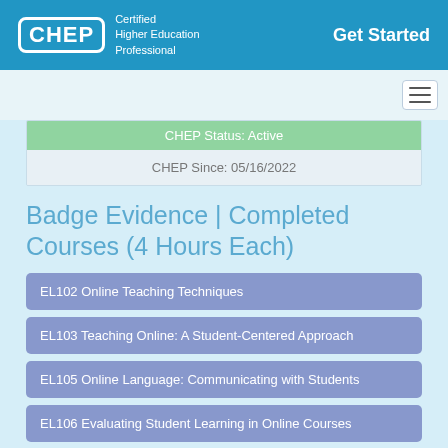CHEP — Certified Higher Education Professional | Get Started
CHEP Status: Active
CHEP Since: 05/16/2022
Badge Evidence | Completed Courses (4 Hours Each)
EL102  Online Teaching Techniques
EL103  Teaching Online: A Student-Centered Approach
EL105  Online Language: Communicating with Students
EL106  Evaluating Student Learning in Online Courses
EL110  Effective Use of Social Media in Online Courses